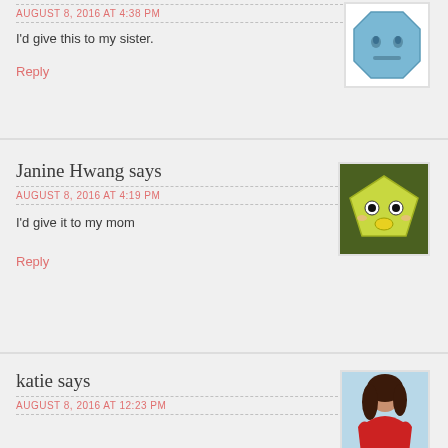AUGUST 8, 2016 AT 4:38 PM
I'd give this to my sister.
Reply
Janine Hwang says
AUGUST 8, 2016 AT 4:19 PM
I'd give it to my mom
Reply
katie says
AUGUST 8, 2016 AT 12:23 PM
To my nephews O:-)
Reply